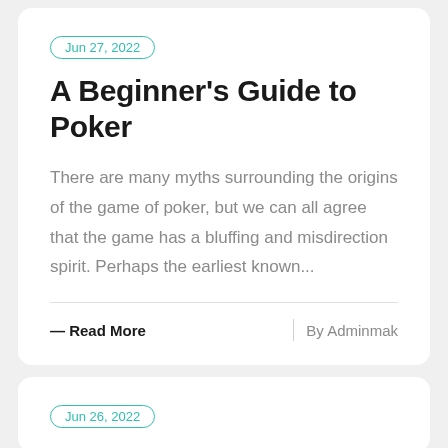Jun 27, 2022
A Beginner's Guide to Poker
There are many myths surrounding the origins of the game of poker, but we can all agree that the game has a bluffing and misdirection spirit. Perhaps the earliest known...
— Read More
By Adminmak
Jun 26, 2022